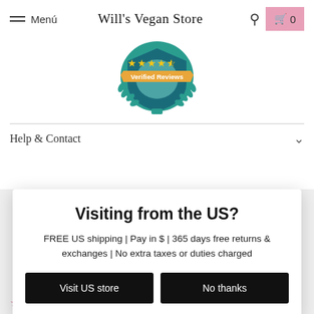Menú | Will's Vegan Store | 0
[Figure (illustration): Verified Reviews badge with teal shield, gold stars (4.5 out of 5), orange banner with text 'Verified Reviews', and laurel wreath at the bottom]
Help & Contact
Visiting from the US?
FREE US shipping | Pay in $ | 365 days free returns & exchanges | No extra taxes or duties charged
Visit US store
No thanks
Customers rate us 4.6/5 based on 2557 reviews.